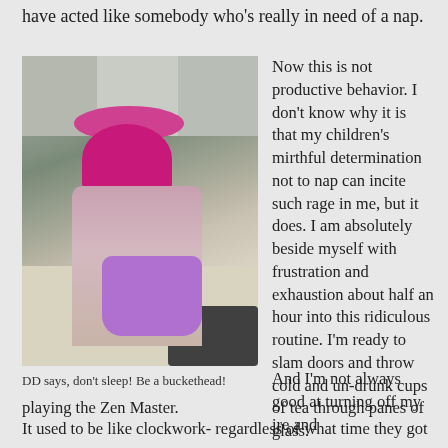have acted like somebody who's really in need of a nap.
[Figure (photo): A young toddler wearing a pink bucket on her head like a hat, holding a purple bucket in her hand, standing in a kitchen with tile floor and white cabinets in the background.]
DD says, don't sleep!  Be a buckethead!
Now this is not productive behavior.  I don't know why it is that my children's mirthful determination not to nap can incite such rage in me, but it does.  I am absolutely beside myself with frustration and exhaustion about half an hour into this ridiculous routine.  I'm ready to slam doors and throw cold and un-drunk cups of tea through panes of glass.
And I'm not always good at turning off my ire and playing the Zen Master.
It used to be like clockwork- regardless of what time they got up,